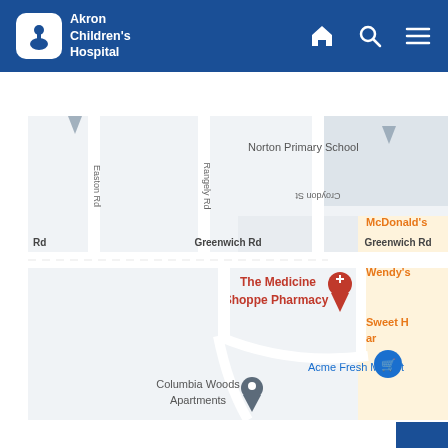Akron Children's Hospital
[Figure (map): Google Maps view showing The Medicine Shoppe Pharmacy on Greenwich Rd, with nearby landmarks including Norton Primary School, McDonald's, Wendy's, Sweet (partially visible), Acme Fresh Market, and Columbia Woods Apartments. Streets include Easton Rd, Rangely Rd, Croydon St, and Greenwich Rd.]